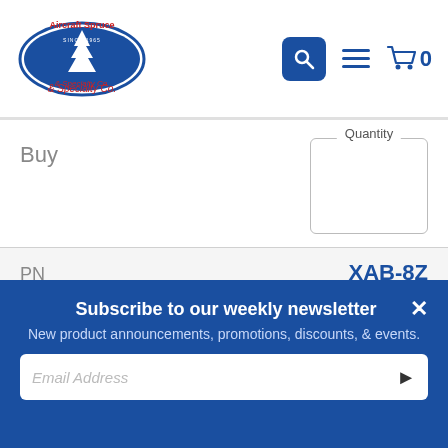[Figure (logo): Aircraft Spruce & Specialty Co. logo with blue oval and red text]
Buy
Quantity
| Property | Value |
| --- | --- |
| PN | XAB-8Z |
| Heim Equivalent PN | HMXL-8G |
| Thread Type | Male |
| Thread Size | 5/8-18 |
| Price | $33.75 |
Subscribe to our weekly newsletter
New product announcements, promotions, discounts, & events.